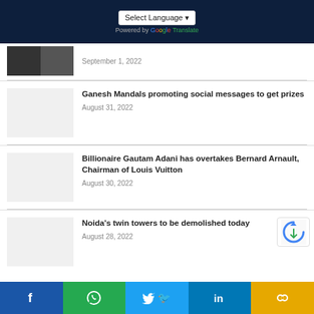Select Language | Powered by Google Translate
September 1, 2022
Ganesh Mandals promoting social messages to get prizes
August 31, 2022
Billionaire Gautam Adani has overtakes Bernard Arnault, Chairman of Louis Vuitton
August 30, 2022
Noida's twin towers to be demolished today
August 28, 2022
f | WhatsApp | Twitter | in | link